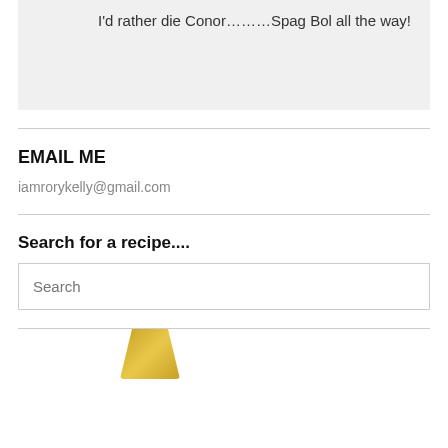I'd rather die Conor………Spag Bol all the way!
EMAIL ME
iamrorykelly@gmail.com
Search for a recipe....
Search
[Figure (photo): Partial image of a golden/brass colored object at the bottom of the page]